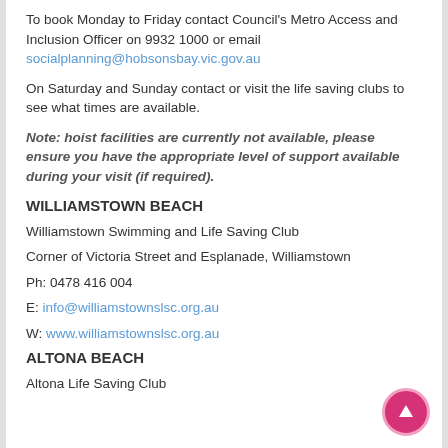To book Monday to Friday contact Council's Metro Access and Inclusion Officer on 9932 1000 or email socialplanning@hobsonsbay.vic.gov.au
On Saturday and Sunday contact or visit the life saving clubs to see what times are available.
Note: hoist facilities are currently not available, please ensure you have the appropriate level of support available during your visit (if required).
WILLIAMSTOWN BEACH
Williamstown Swimming and Life Saving Club
Corner of Victoria Street and Esplanade, Williamstown
Ph: 0478 416 004
E: info@williamstownslsc.org.au
W: www.williamstownslsc.org.au
ALTONA BEACH
Altona Life Saving Club